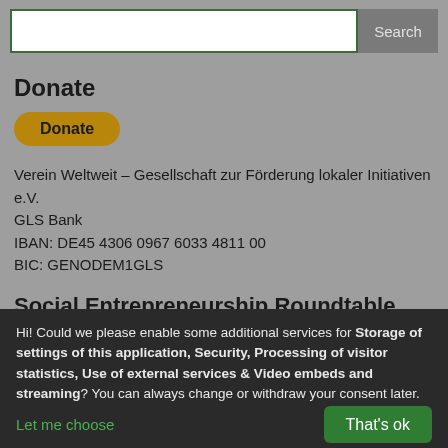Search
Donate
Donate (button)
Verein Weltweit – Gesellschaft zur Förderung lokaler Initiativen e.V.
GLS Bank
IBAN: DE45 4306 0967 6033 4811 00
BIC: GENODEM1GLS
Social Entrepreneurship Roundtable
For our SE roundtable we invite practitioners to share their knowledge. If you are interested, please fill in this form.
Hi! Could we please enable some additional services for Storage of settings of this application, Security, Processing of visitor statistics, Use of external services & Video embeds and streaming? You can always change or withdraw your consent later.
Let me choose
That's ok